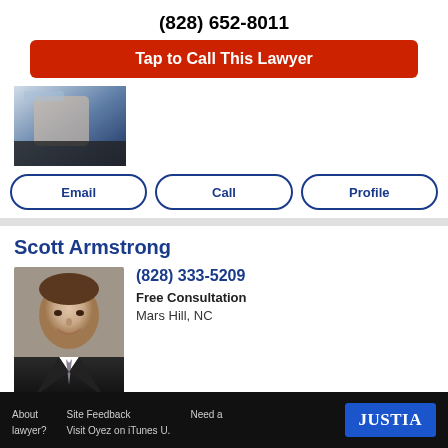(828) 652-8011
Tap to Call This Lawyer
[Figure (photo): Partial photo of a lawyer in a suit, cropped near the top]
Email
Call
Profile
Scott Armstrong
[Figure (photo): Headshot of Scott Armstrong, a man in a dark suit with a tie, smiling]
(828) 333-5209
Free Consultation
Mars Hill, NC
Email
Call
Profile
About lawyer? Site Feedback Visit Oyez on iTunes U. Need a  JUSTIA